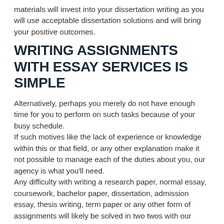materials will invest into your dissertation writing as you will use acceptable dissertation solutions and will bring your positive outcomes.
WRITING ASSIGNMENTS WITH ESSAY SERVICES IS SIMPLE
Alternatively, perhaps you merely do not have enough time for you to perform on such tasks because of your busy schedule.
If such motives like the lack of experience or knowledge within this or that field, or any other explanation make it not possible to manage each of the duties about you, our agency is what you'll need.
Any difficulty with writing a research paper, normal essay, coursework, bachelor paper, dissertation, admission essay, thesis writing, term paper or any other form of assignments will likely be solved in two twos with our cheap essay writing service.
Admission essay writing